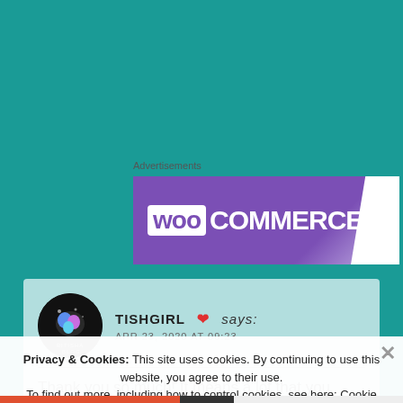[Figure (screenshot): Teal/turquoise website background]
Advertisements
[Figure (logo): WooCommerce banner advertisement with purple gradient background and white WooCommerce logo text]
[Figure (screenshot): Avatar: dark circular logo with RITISHA.BLOG text and colorful blob graphic]
TISHGIRL ❤ says: APR 23, 2020 AT 09:23
Thank you so much! It means a lot that you have
Privacy & Cookies: This site uses cookies. By continuing to use this website, you agree to their use.
To find out more, including how to control cookies, see here: Cookie Policy
Close and accept